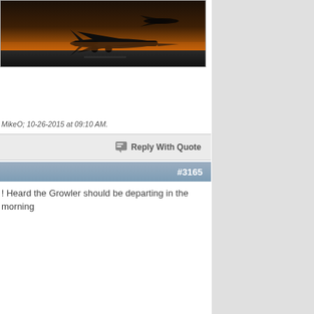[Figure (photo): Military jet aircraft (likely an EA-18G Growler) silhouetted on a runway at sunset/dusk, with orange sky in background]
MikeO; 10-26-2015 at 09:10 AM.
Reply With Quote
#3165
! Heard the Growler should be departing in the morning